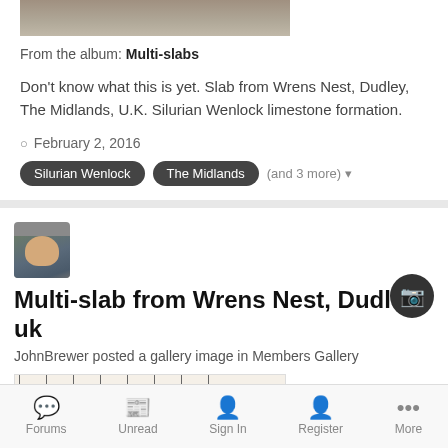[Figure (photo): Partial photo of a rock/fossil specimen, top portion visible]
From the album: Multi-slabs
Don't know what this is yet. Slab from Wrens Nest, Dudley, The Midlands, U.K. Silurian Wenlock limestone formation.
February 2, 2016
Silurian Wenlock   The Midlands   (and 3 more)
[Figure (photo): User avatar photo showing a man's face]
Multi-slab from Wrens Nest, Dudley, uk
JohnBrewer posted a gallery image in Members Gallery
[Figure (photo): Photo of a rock slab with ruler for scale]
Forums   Unread   Sign In   Register   More